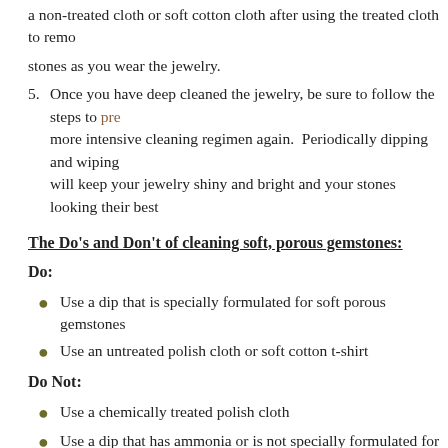a non-treated cloth or soft cotton cloth after using the treated cloth to remove stones as you wear the jewelry.
Once you have deep cleaned the jewelry, be sure to follow the steps to prevent more intensive cleaning regimen again. Periodically dipping and wiping will keep your jewelry shiny and bright and your stones looking their best.
The Do's and Don't of cleaning soft, porous gemstones:
Do:
Use a dip that is specially formulated for soft porous gemstones
Use an untreated polish cloth or soft cotton t-shirt
Do Not:
Use a chemically treated polish cloth
Use a dip that has ammonia or is not specially formulated for porous gems
Use brushes or rough fabrics (they will permanently scratch your stones)
Use a sonic cleaner
Store stones properly after cleaning